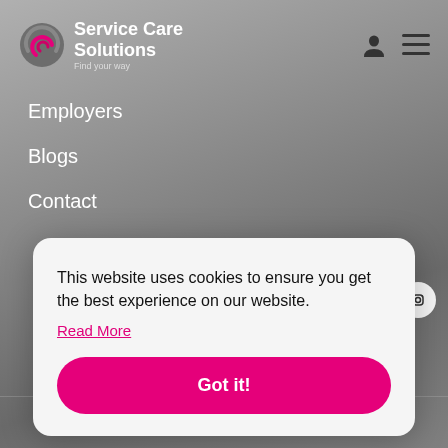[Figure (logo): Service Care Solutions logo with circular icon and tagline 'Find your way']
Employers
Blogs
Contact
[Figure (other): Social media icons row (Facebook, LinkedIn, Twitter/X, Instagram) in white circles]
This website uses cookies to ensure you get the best experience on our website.
Read More
Got it!